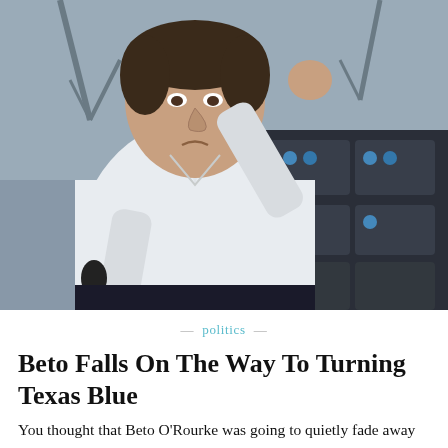[Figure (photo): A man in a white dress shirt speaks into a microphone while raising his right fist in the air, photographed outdoors with dark audio equipment visible in the background and bare tree branches.]
— politics —
Beto Falls On The Way To Turning Texas Blue
You thought that Beto O'Rourke was going to quietly fade away